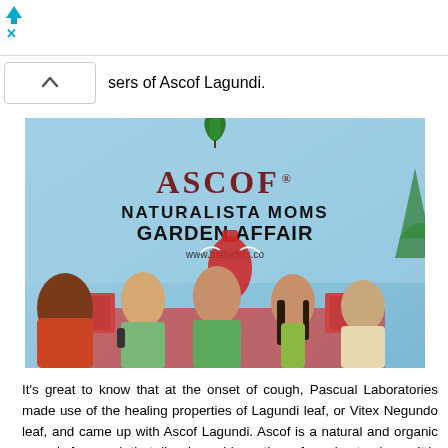[Figure (other): Ad banner icon at top left with close X button]
sers of Ascof Lagundi.
[Figure (photo): Photo of an event panel discussion at the ASCOF Naturalista Moms Garden Affair. A backdrop sign reads 'ASCOF NATURALISTA MOMS GARDEN AFFAIR www.badudets.com'. Several people are seated at a table including a boy, a woman in green, and two other women. A woman with a microphone interviews them.]
It's great to know that at the onset of cough, Pascual Laboratories made use of the healing properties of Lagundi leaf, or Vitex Negundo leaf, and came up with Ascof Lagundi. Ascof is a natural and organic remedy for cough that dissolves phlegm the safe and natural way. It is approved by Food and Drug